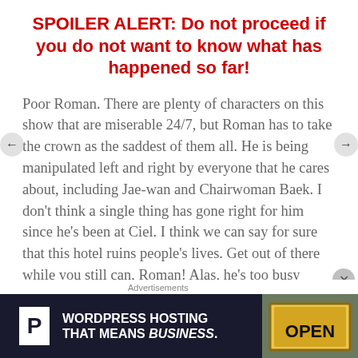SPOILER ALERT: Do not proceed if you do not want to know what has happened so far!
Poor Roman. There are plenty of characters on this show that are miserable 24/7, but Roman has to take the crown as the saddest of them all. He is being manipulated left and right by everyone that he cares about, including Jae-wan and Chairwoman Baek. I don't think a single thing has gone right for him since he's been at Ciel. I think we can say for sure that this hotel ruins people's lives. Get out of there while you still can, Roman! Alas, he's too busy looking over his shoulder to make sure he doesn't get backstabbed by either his brother or mother. Yeah, worst family ever. Poor, poor
Advertisements
[Figure (other): Advertisement banner for WordPress Hosting with 'P' logo icon on dark background and an OPEN sign image on the right]